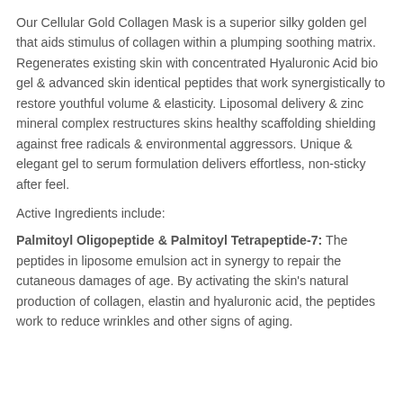Our Cellular Gold Collagen Mask is a superior silky golden gel that aids stimulus of collagen within a plumping soothing matrix. Regenerates existing skin with concentrated Hyaluronic Acid bio gel & advanced skin identical peptides that work synergistically to restore youthful volume & elasticity. Liposomal delivery & zinc mineral complex restructures skins healthy scaffolding shielding against free radicals & environmental aggressors. Unique & elegant gel to serum formulation delivers effortless, non-sticky after feel.
Active Ingredients include:
Palmitoyl Oligopeptide & Palmitoyl Tetrapeptide-7: The peptides in liposome emulsion act in synergy to repair the cutaneous damages of age. By activating the skin's natural production of collagen, elastin and hyaluronic acid, the peptides work to reduce wrinkles and other signs of aging.